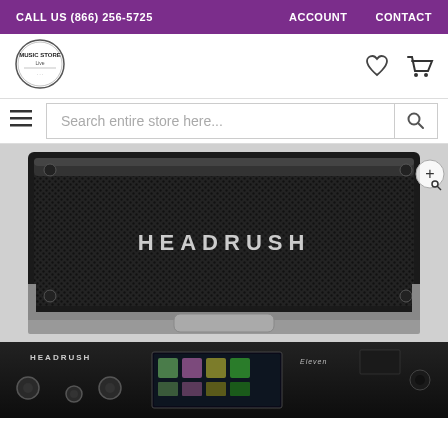CALL US (866) 256-5725   ACCOUNT   CONTACT
[Figure (logo): Music Store Live circular badge logo]
Search entire store here...
[Figure (photo): HeadRush speaker cabinet front view showing hexagonal grill pattern with HEADRUSH branding]
[Figure (photo): HeadRush guitar multi-effects processor unit showing front panel with knobs, screen, and Eleven branding]